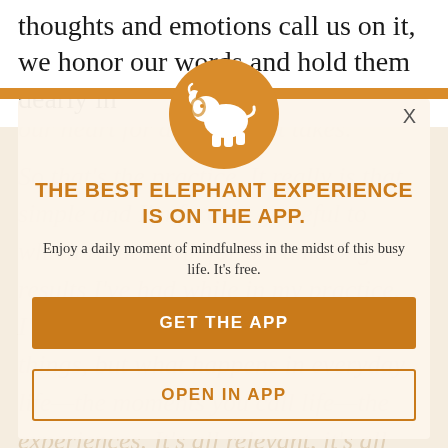thoughts and emotions call us on it, we honor our words and hold them dearly in
our heart for as long as it takes.
So that's the practice. It really is that simple and I'm forever grateful to which Nhat Hanh for the amazing results I've had while in my practice. I'm not one to dismiss important things, but what happens in everyday life—the moments you call life—the experiences. It's all relevant, it's all grist for the mill and it can all be worked. Please comment below if you try this practice and share your experience here.
[Figure (logo): Elephant Journal app icon: white elephant silhouette on orange circle background]
THE BEST ELEPHANT EXPERIENCE IS ON THE APP.
Enjoy a daily moment of mindfulness in the midst of this busy life. It's free.
GET THE APP
OPEN IN APP